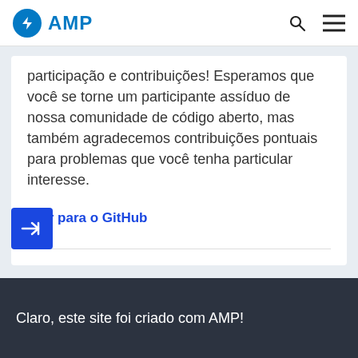AMP
participação e contribuições! Esperamos que você se torne um participante assíduo de nossa comunidade de código aberto, mas também agradecemos contribuições pontuais para problemas que você tenha particular interesse.
→ Ir para o GitHub
Claro, este site foi criado com AMP!